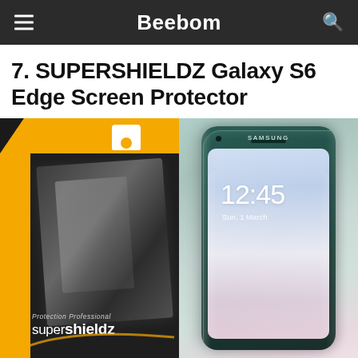Beebom
7. SUPERSHIELDZ Galaxy S6 Edge Screen Protector
[Figure (photo): Product photo showing Supershieldz screen protector packaging (black and orange box with screen protector film) on the left, and a Samsung Galaxy S6 Edge smartphone with screen protector applied on the right.]